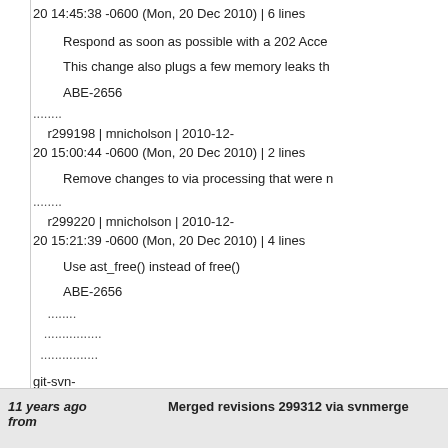20 14:45:38 -0600 (Mon, 20 Dec 2010) | 6 lines
Respond as soon as possible with a 202 Acce
This change also plugs a few memory leaks th
ABE-2656
........
r299198 | mnicholson | 2010-12-20 15:00:44 -0600 (Mon, 20 Dec 2010) | 2 lines
Remove changes to via processing that were n
........
r299220 | mnicholson | 2010-12-20 15:21:39 -0600 (Mon, 20 Dec 2010) | 4 lines
Use ast_free() instead of free()
ABE-2656
........
................
................
git-svn-id: https://origsvn.digium.com/svn/asterisk/trunk@ 6c06-0410-ace0-fbb531ad65f3
11 years ago from
Merged revisions 299312 via svnmerge